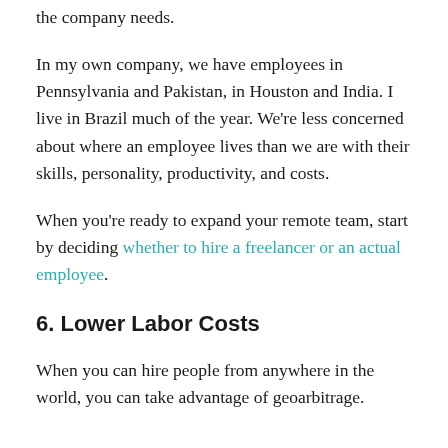the company needs.
In my own company, we have employees in Pennsylvania and Pakistan, in Houston and India. I live in Brazil much of the year. We're less concerned about where an employee lives than we are with their skills, personality, productivity, and costs.
When you're ready to expand your remote team, start by deciding whether to hire a freelancer or an actual employee.
6. Lower Labor Costs
When you can hire people from anywhere in the world, you can take advantage of geoarbitrage.